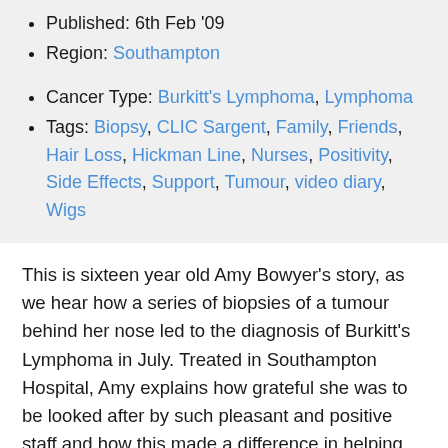Published: 6th Feb '09
Region: Southampton
Cancer Type: Burkitt's Lymphoma, Lymphoma
Tags: Biopsy, CLIC Sargent, Family, Friends, Hair Loss, Hickman Line, Nurses, Positivity, Side Effects, Support, Tumour, video diary, Wigs
This is sixteen year old Amy Bowyer’s story, as we hear how a series of biopsies of a tumour behind her nose led to the diagnosis of Burkitt's Lymphoma in July. Treated in Southampton Hospital, Amy explains how grateful she was to be looked after by such pleasant and positive staff and how this made a difference in helping her to get through it all. As well as telling her own story, Amy offers some sound advice to other teenagers, her main tip being not to worry too much or think too far ahead and despite the side effects of treatments, remain positive. Amy explains how